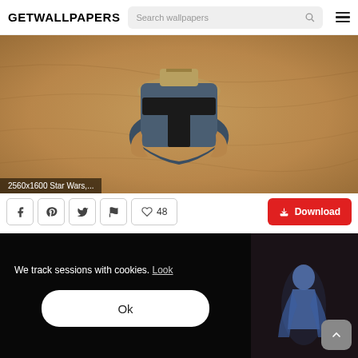GETWALLPAPERS — Search wallpapers
[Figure (screenshot): Mandalorian/Boba Fett helmet wallpaper on a tan/brown textured background, viewed from above. Label reads: 2560x1600 Star Wars,...]
2560x1600 Star Wars,...
Social share buttons (Facebook, Pinterest, Twitter, Flag), Like count: 48, Download button
[Figure (screenshot): Cookie consent overlay on dark background with text 'We track sessions with cookies. Look' and an Ok button. Right side shows a partial preview of a Star Wars hologram figure wallpaper. A scroll-to-top button is visible in the bottom right.]
We track sessions with cookies. Look
Ok